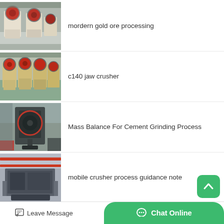[Figure (photo): Industrial jaw crusher machines in a factory setting]
mordern gold ore processing
[Figure (photo): Multiple yellow jaw crusher machines lined up in a warehouse]
c140 jaw crusher
[Figure (photo): Large industrial grinding mill machine inside a factory]
Mass Balance For Cement Grinding Process
[Figure (photo): Industrial mobile crusher equipment with red overhead cranes in a large facility]
mobile crusher process guidance note
Leave Message
Chat Online